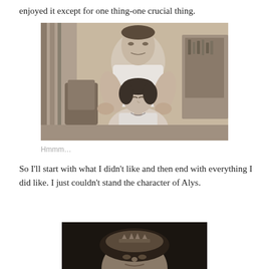enjoyed it except for one thing-one crucial thing.
[Figure (photo): Black and white photograph of a man in a white short-sleeve shirt standing behind a seated woman with short dark hair, appearing to be in an indoor setting with furniture in the background.]
Hmmm…
So I'll start with what I didn't like and then end with everything I did like. I just couldn't stand the character of Alys.
[Figure (photo): Black and white close-up photograph of a person's face, partially visible at the bottom of the page.]